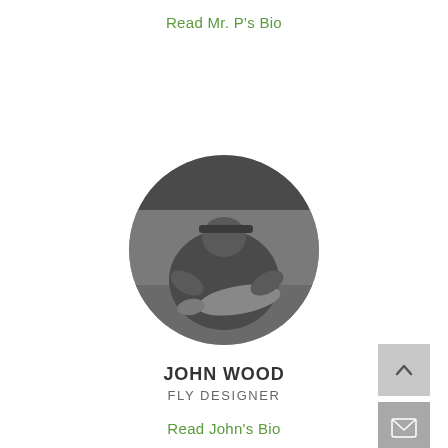Read Mr. P's Bio
[Figure (photo): Circular black-and-white photo of John Wood, a man wearing a cap, crouching in a river holding a large fish]
JOHN WOOD
FLY DESIGNER
Read John's Bio